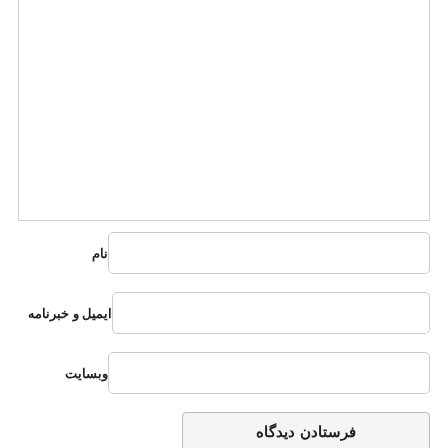[Figure (other): Large white rectangular comment/text input area with light gray border at the top of the page]
نام
ایمیل و خبرنامه
وبسایت
فرستادن دیدگاه